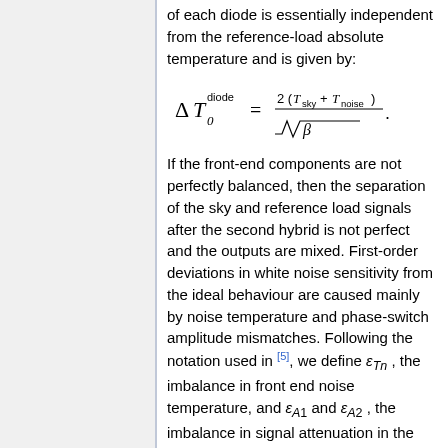of each diode is essentially independent from the reference-load absolute temperature and is given by:
If the front-end components are not perfectly balanced, then the separation of the sky and reference load signals after the second hybrid is not perfect and the outputs are mixed. First-order deviations in white noise sensitivity from the ideal behaviour are caused mainly by noise temperature and phase-switch amplitude mismatches. Following the notation used in [5], we define ε_{Tn}, the imbalance in front end noise temperature, and ε_{A1} and ε_{A2}, the imbalance in signal attenuation in the two states of the phase switch. Equation above for the two diodes of a slightly